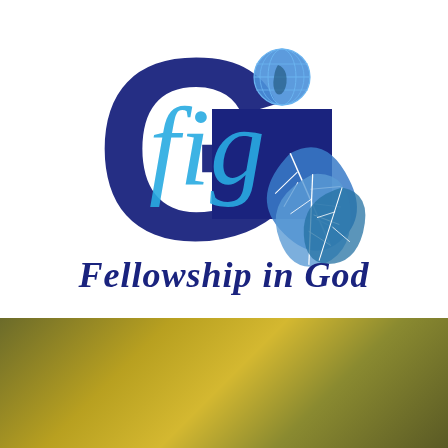[Figure (logo): Fellowship in God logo: large dark navy letter G with a stylized cursive 'fig' monogram in light blue inside, a globe icon at top right, and a decorative leaf cluster at bottom right. Below the G is the text 'Fellowship in God' in dark navy italic/script font.]
[Figure (photo): Blurred outdoor photo with yellow-green bokeh light, appearing to show a natural/outdoor scene with golden/olive tones.]